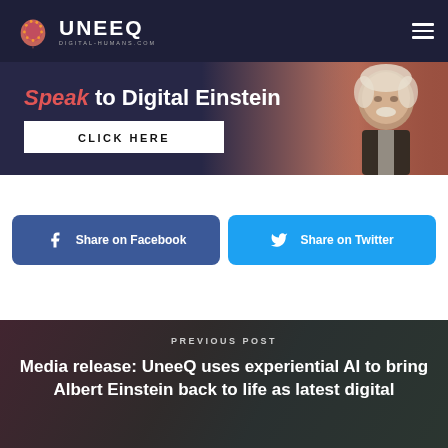[Figure (logo): UneeQ Digital Humans logo with brain/network icon and text UNEEQ DIGITAL-HUMANS.COM on dark navy header bar with hamburger menu icon]
[Figure (infographic): Banner with text 'Speak to Digital Einstein' and 'CLICK HERE' button on dark/pink gradient background with Einstein portrait on right]
[Figure (infographic): Facebook share button (blue rounded rectangle) with f icon and 'Share on Facebook' text, and Twitter share button (cyan rounded rectangle) with bird icon and 'Share on Twitter' text]
[Figure (photo): Previous post section with dark overlay background showing blurred Einstein image, labeled 'PREVIOUS POST' with title 'Media release: UneeQ uses experiential AI to bring Albert Einstein back to life as latest digital']